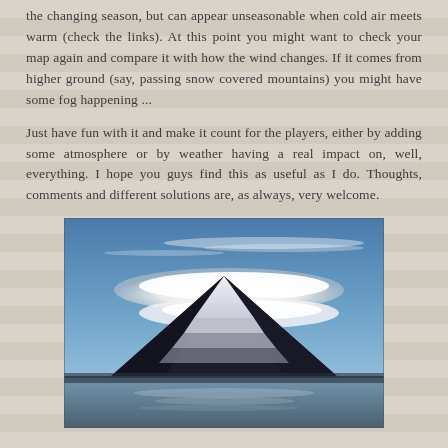the changing season, but can appear unseasonable when cold air meets warm (check the links). At this point you might want to check your map again and compare it with how the wind changes. If it comes from higher ground (say, passing snow covered mountains) you might have some fog happening ...
Just have fun with it and make it count for the players, either by adding some atmosphere or by weather having a real impact on, well, everything. I hope you guys find this as useful as I do. Thoughts, comments and different solutions are, as always, very welcome.
[Figure (photo): Photo of a snow-capped mountain (resembling Mount Fuji) with a large lenticular cloud formation above it, reflected in a lake below. Blue sky with wispy clouds. Dramatic scenic landscape.]